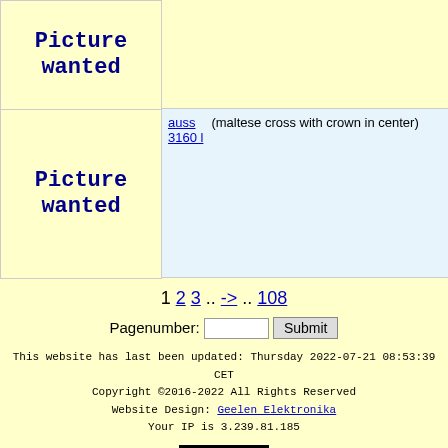[Figure (other): Picture wanted placeholder box (row 1)]
[Figure (other): Picture wanted placeholder box (row 2)]
auss 3160 l
(maltese cross with crown in center)
1 2 3 .. -> .. 108
Pagenumber:
This website has last been updated: Thursday 2022-07-21 08:53:39 CET
Copyright ©2016-2022 All Rights Reserved
Website Design: Geelen Elektronika
Your IP is 3.239.81.185
00041145